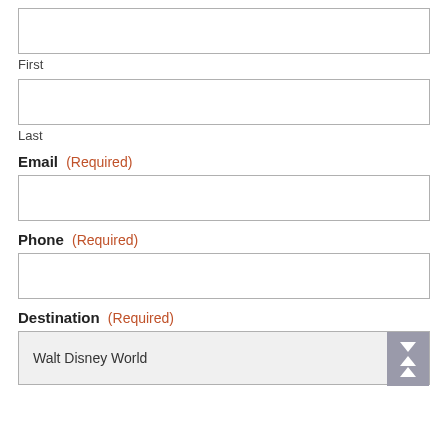First
Last
Email (Required)
Phone (Required)
Destination (Required)
Walt Disney World